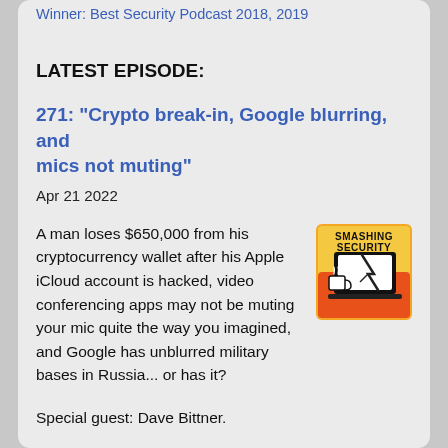Winner: Best Security Podcast 2018, 2019
LATEST EPISODE:
271: "Crypto break-in, Google blurring, and mics not muting"
Apr 21 2022
A man loses $650,000 from his cryptocurrency wallet after his Apple iCloud account is hacked, video conferencing apps may not be muting your mic quite the way you imagined, and Google has unblurred military bases in Russia... or has it?
[Figure (logo): Smashing Security podcast logo: orange/yellow background with a laptop showing a cracked screen and a coffee cup]
Special guest: Dave Bittner.